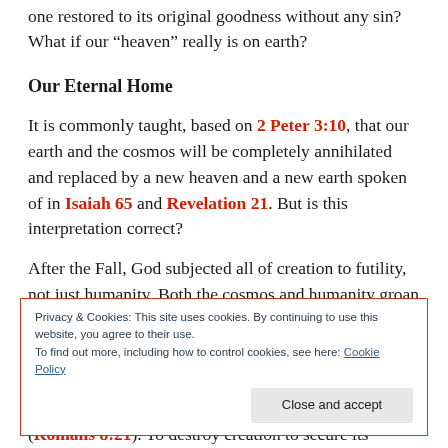one restored to its original goodness without any sin? What if our “heaven” really is on earth?
Our Eternal Home
It is commonly taught, based on 2 Peter 3:10, that our earth and the cosmos will be completely annihilated and replaced by a new heaven and a new earth spoken of in Isaiah 65 and Revelation 21. But is this interpretation correct?
After the Fall, God subjected all of creation to futility, not just humanity. Both the cosmos and humanity groan
Privacy & Cookies: This site uses cookies. By continuing to use this website, you agree to their use.
To find out more, including how to control cookies, see here: Cookie Policy
(Romans 8:21). To destroy creation to secure its